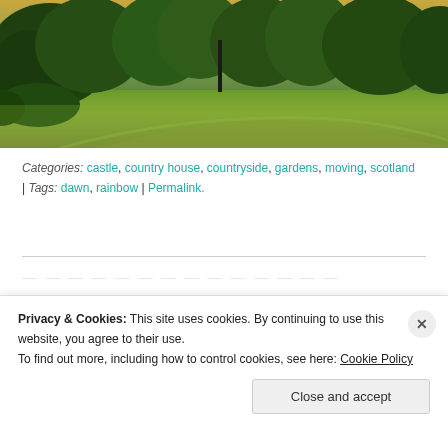[Figure (photo): Photograph of a countryside lawn and garden with lush green trees in the background and open grass field, warm sky overhead]
Categories: castle, country house, countryside, gardens, moving, scotland | Tags: dawn, rainbow | Permalink.
Privacy & Cookies: This site uses cookies. By continuing to use this website, you agree to their use. To find out more, including how to control cookies, see here: Cookie Policy
Close and accept